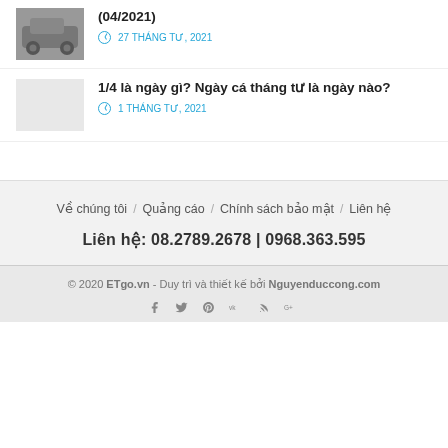(04/2021) — 27 THÁNG TƯ, 2021
1/4 là ngày gì? Ngày cá tháng tư là ngày nào? — 1 THÁNG TƯ, 2021
Về chúng tôi / Quảng cáo / Chính sách bảo mật / Liên hệ
Liên hệ: 08.2789.2678 | 0968.363.595
© 2020 ETgo.vn - Duy trì và thiết kế bởi Nguyenduccong.com